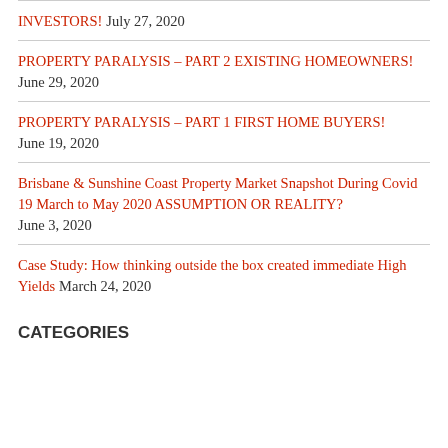INVESTORS! July 27, 2020
PROPERTY PARALYSIS – PART 2 EXISTING HOMEOWNERS! June 29, 2020
PROPERTY PARALYSIS – PART 1 FIRST HOME BUYERS! June 19, 2020
Brisbane & Sunshine Coast Property Market Snapshot During Covid 19 March to May 2020 ASSUMPTION OR REALITY? June 3, 2020
Case Study: How thinking outside the box created immediate High Yields March 24, 2020
CATEGORIES